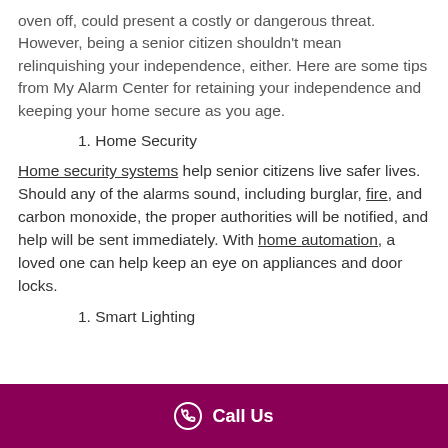oven off, could present a costly or dangerous threat. However, being a senior citizen shouldn't mean relinquishing your independence, either. Here are some tips from My Alarm Center for retaining your independence and keeping your home secure as you age.
1. Home Security
Home security systems help senior citizens live safer lives. Should any of the alarms sound, including burglar, fire, and carbon monoxide, the proper authorities will be notified, and help will be sent immediately. With home automation, a loved one can help keep an eye on appliances and door locks.
1. Smart Lighting
Call Us